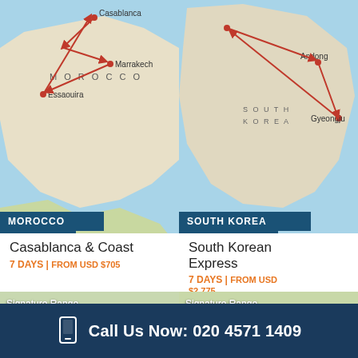[Figure (map): Morocco map showing route between Casablanca, Marrakech, and Essaouira with red arrows]
MOROCCO
Casablanca & Coast
7 DAYS | FROM USD $705
[Figure (map): South Korea map showing route between cities including Andong and Gyeongju with red arrows]
SOUTH KOREA
South Korean Express
7 DAYS | FROM USD $2,775
[Figure (map): India map showing locations including Ngari, Shimla, Rishikesh, Corbett NP with Signature Range label]
[Figure (map): China map showing Beijing, Great Wall, Badaling, Juyongguan with red route and Signature Range label]
Call Us Now: 020 4571 1409